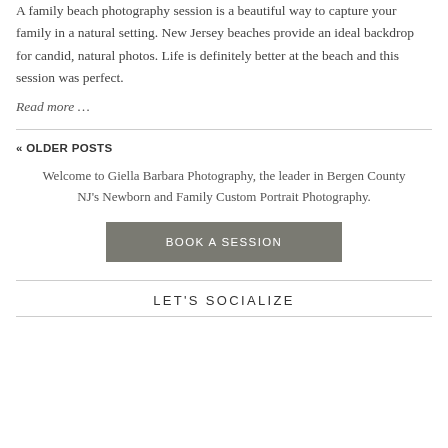A family beach photography session is a beautiful way to capture your family in a natural setting. New Jersey beaches provide an ideal backdrop for candid, natural photos. Life is definitely better at the beach and this session was perfect.
Read more …
« OLDER POSTS
Welcome to Giella Barbara Photography, the leader in Bergen County NJ's Newborn and Family Custom Portrait Photography.
BOOK A SESSION
LET'S SOCIALIZE